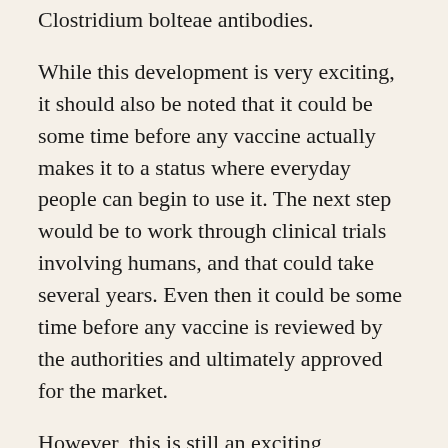Clostridium bolteae antibodies.
While this development is very exciting, it should also be noted that it could be some time before any vaccine actually makes it to a status where everyday people can begin to use it. The next step would be to work through clinical trials involving humans, and that could take several years. Even then it could be some time before any vaccine is reviewed by the authorities and ultimately approved for the market.
However, this is still an exciting development that could provide some hope for families who may someday be able to eliminate some of the most common and troubling symptoms of autism. We have been fighting for families with autistic children as New York medical malpractice lawyers for 42 years, and one of the most difficult things to see time after time is the acceptance of extremely difficult circumstances. Hope is a powerful thing, and people who no longer have to worry about a